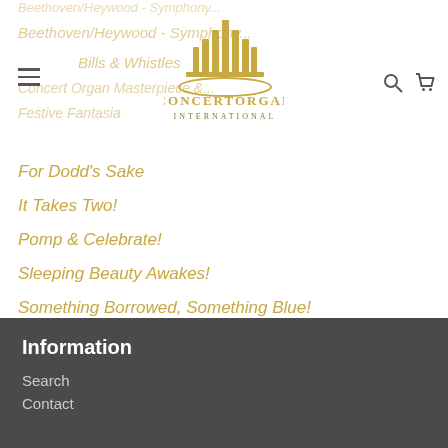[Figure (logo): Concert Organ International logo with gold organ pipes and elliptical base, text ConcertOrgan International]
For Dodd's Sake
It Takes Two!
Pomp & Celebrate!
Sleeping Beauty Awakes!
Something Borrowed, Something Blue!
The Heart of Hobart
The Music Box
Too Hot to Handel!
Top of the Stops!
Information
Search
Contact